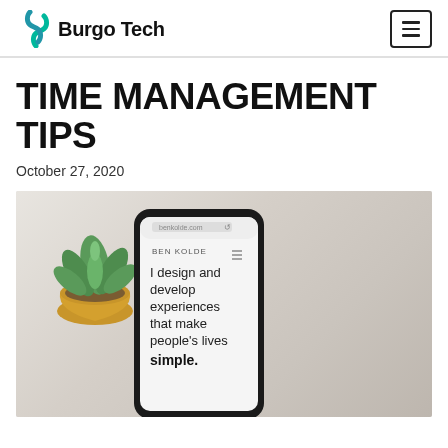Burgo Tech
TIME MANAGEMENT TIPS
October 27, 2020
[Figure (photo): A flat-lay photo showing a smartphone displaying a website reading 'I design and develop experiences that make people's lives simple.' alongside a succulent plant in a gold pot and a glass of iced drink on a cork coaster. An English language badge is visible in the bottom left.]